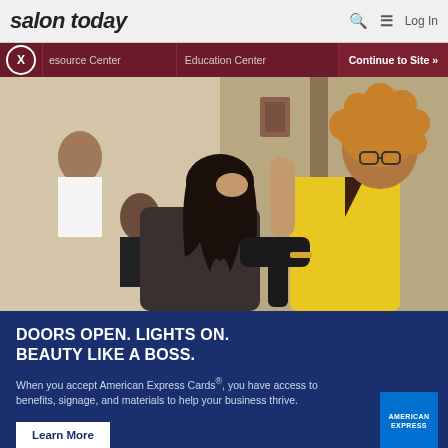salon today   🔍 ≡ Log In
Resource Center | Education Center | Continue to Site »
[Figure (photo): A hair stylist in a yellow shirt blow-drying a client's hair in a salon, with another client and stylist visible in the background mirror.]
DOORS OPEN. LIGHTS ON. BEAUTY LIKE A BOSS.
When you accept American Express Cards®, you have access to benefits, signage, and materials to help your business thrive.
Learn More